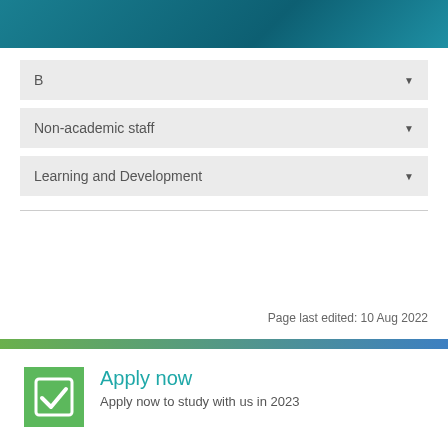[Figure (other): Teal/blue gradient top banner header bar]
B
Non-academic staff
Learning and Development
Page last edited: 10 Aug 2022
[Figure (other): Green to blue gradient footer banner strip]
[Figure (other): Green square icon with checkbox checkmark]
Apply now
Apply now to study with us in 2023